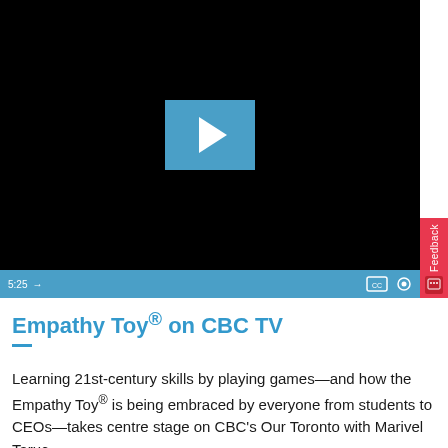[Figure (screenshot): Video player showing a black video frame with a blue play button in the center. The video controls bar at the bottom shows a timestamp of 5:25 with a progress bar indicator, CC and settings icons on the right. Duration shown as 5:25.]
Empathy Toy® on CBC TV
Learning 21st-century skills by playing games—and how the Empathy Toy® is being embraced by everyone from students to CEOs—takes centre stage on CBC's Our Toronto with Marivel Taruc.